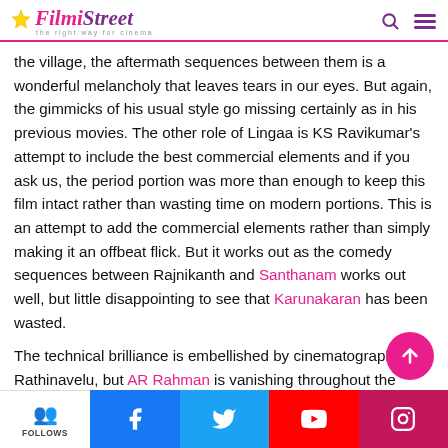Filmi Street — the right way for cinema
the village, the aftermath sequences between them is a wonderful melancholy that leaves tears in our eyes. But again, the gimmicks of his usual style go missing certainly as in his previous movies. The other role of Lingaa is KS Ravikumar's attempt to include the best commercial elements and if you ask us, the period portion was more than enough to keep this film intact rather than wasting time on modern portions. This is an attempt to add the commercial elements rather than simply making it an offbeat flick. But it works out as the comedy sequences between Rajnikanth and Santhanam works out well, but little disappointing to see that Karunakaran has been wasted.
The technical brilliance is embellished by cinematographer Rathinavelu, but AR Rahman is vanishing throughout the